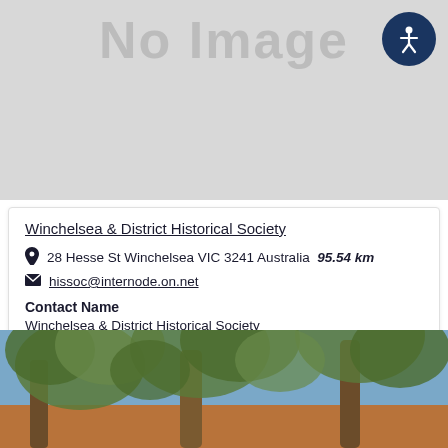[Figure (other): Gray placeholder image with 'No Image' text and a circular accessibility icon in the top right corner with a person symbol on dark blue background]
Winchelsea & District Historical Society
28 Hesse St Winchelsea VIC 3241 Australia   95.54 km
hissoc@internode.on.net
Contact Name
Winchelsea & District Historical Society
[Figure (photo): Outdoor photograph showing large gum trees with spreading canopy against a blue sky, with orange/terracotta building visible beneath the trees]